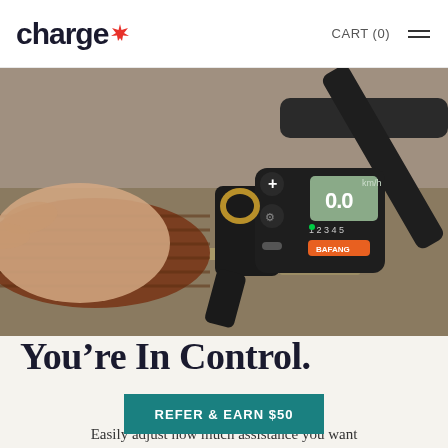charge* CART (0)
[Figure (photo): Close-up photo of a person's hand gripping a brown leather bicycle handlebar grip, with a black e-bike control unit showing a small LCD display reading 0.0 and power level indicators 1-5, with bicycle handlebars visible in background on a blurred road surface.]
You’re In Control.
REFER & EARN $50
Easily adjust how much assistance you want